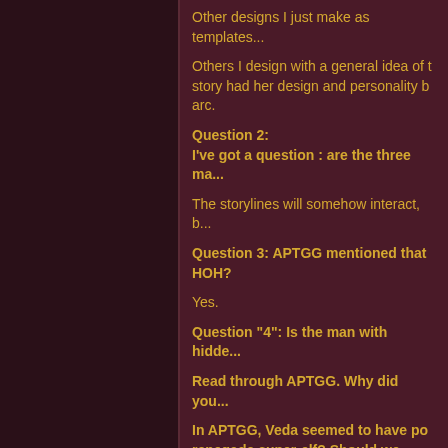Other designs I just make as templates...
Others I design with a general idea of t... story had her design and personality b... arc.
Question 2:
I've got a question : are the three ma...
The storylines will somehow interact, b...
Question 3: APTGG mentioned that ... HOH?
Yes.
Question "4": Is the man with hidde...
Read through APTGG. Why did you...
In APTGG, Veda seemed to have po... renegade super-elf? Should we call...
There were some other small pieces... valid?